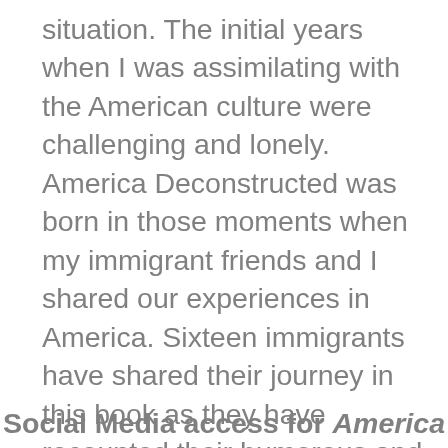situation. The initial years when I was assimilating with the American culture were challenging and lonely. America Deconstructed was born in those moments when my immigrant friends and I shared our experiences in America. Sixteen immigrants have shared their journey in this book as they have recounted their humorous and embarrassing situation, their trials and tribulations. There is everything from love, war, romance, loss, marriage and kids. Please support us by pre-ordering our book by clicking the link below: https://publishizer.com/america-deconstructed/
Social Media access for America